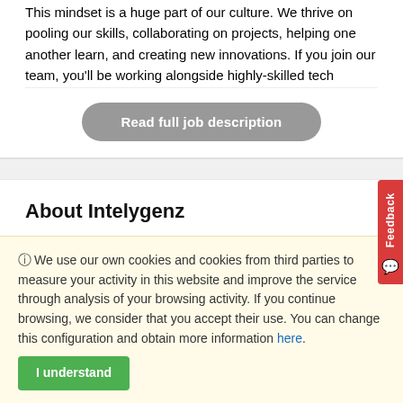This mindset is a huge part of our culture. We thrive on pooling our skills, collaborating on projects, helping one another learn, and creating new innovations. If you join our team, you'll be working alongside highly-skilled tech
Read full job description
About Intelygenz
We use our own cookies and cookies from third parties to measure your activity in this website and improve the service through analysis of your browsing activity. If you continue browsing, we consider that you accept their use. You can change this configuration and obtain more information here.
I understand